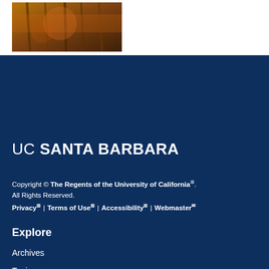[Figure (photo): Underwater or nature photo, appears to show kelp forest or coral reef with warm orange tones]
UC SANTA BARBARA
Copyright © The Regents of the University of California. All Rights Reserved.
Privacy | Terms of Use | Accessibility | Webmaster
Explore
Archives
Topics
Arts + Culture
Science + Technology